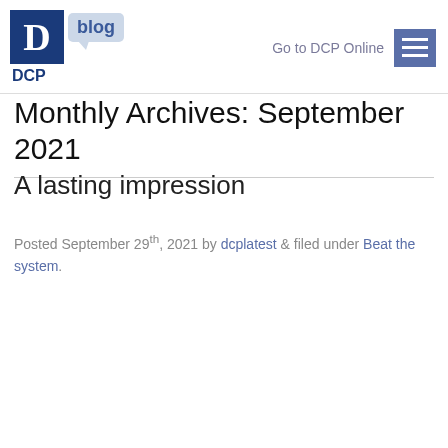DCP blog | Go to DCP Online
Monthly Archives: September 2021
A lasting impression
Posted September 29th, 2021 by dcplatest & filed under Beat the system.